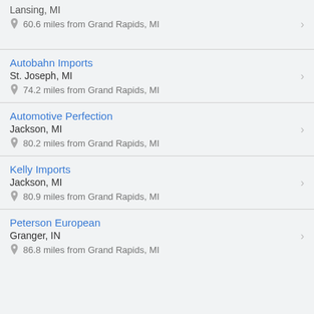Lansing, MI
60.6 miles from Grand Rapids, MI
Autobahn Imports
St. Joseph, MI
74.2 miles from Grand Rapids, MI
Automotive Perfection
Jackson, MI
80.2 miles from Grand Rapids, MI
Kelly Imports
Jackson, MI
80.9 miles from Grand Rapids, MI
Peterson European
Granger, IN
86.8 miles from Grand Rapids, MI